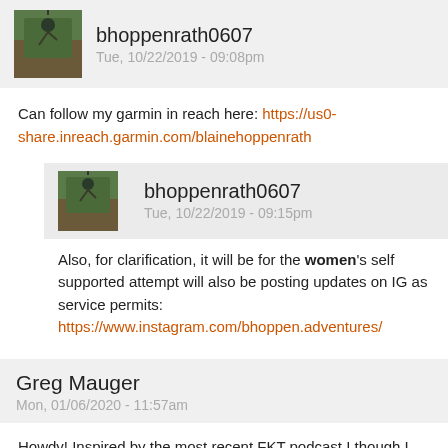bhoppenrath0607
Tue, 10/22/2019 - 09:08pm
Can follow my garmin in reach here: https://us0-share.inreach.garmin.com/blainehoppenrath
bhoppenrath0607
Tue, 10/22/2019 - 09:15pm
Also, for clarification, it will be for the women's self supported attempt will also be posting updates on IG as service permits: https://www.instagram.com/bhoppen.adventures/
Greg Mauger
Mon, 01/06/2020 - 11:57am
Howdy! Inspired by the most recent FKT podcast I though I would share the trip report for our AFKT (A=almost) or CFKT (C=couples)